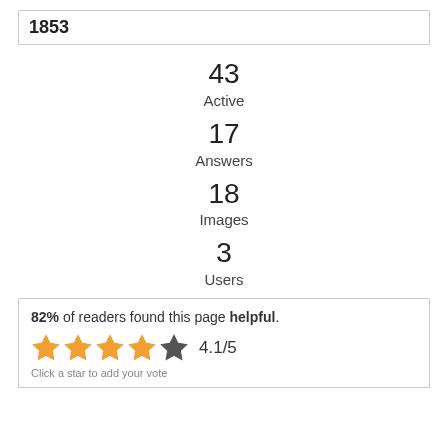1853
43
Active
17
Answers
18
Images
3
Users
82% of readers found this page helpful.
4.1/5
Click a star to add your vote